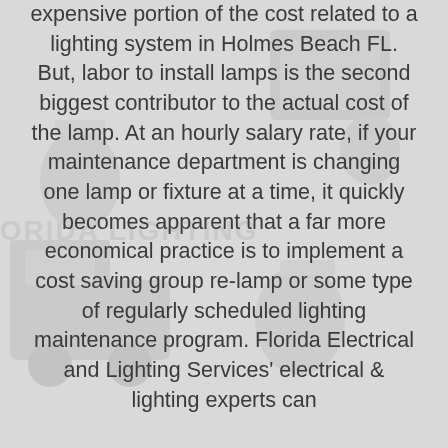expensive portion of the cost related to a lighting system in Holmes Beach FL. But, labor to install lamps is the second biggest contributor to the actual cost of the lamp. At an hourly salary rate, if your maintenance department is changing one lamp or fixture at a time, it quickly becomes apparent that a far more economical practice is to implement a cost saving group re-lamp or some type of regularly scheduled lighting maintenance program. Florida Electrical and Lighting Services' electrical & lighting experts can